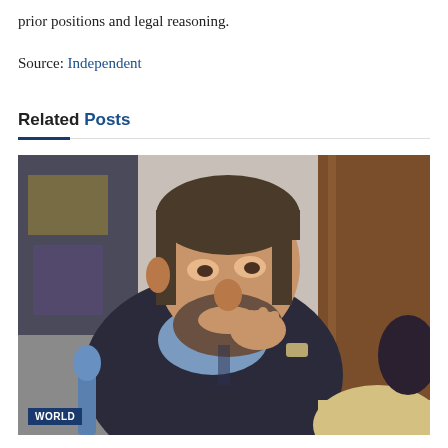prior positions and legal reasoning.
Source: Independent
Related Posts
[Figure (photo): A heavyset bearded man in a dark suit and light blue shirt sits in what appears to be a courtroom, resting his chin on his hand in a pensive pose. A microphone is visible in the foreground, and a blond woman is partially visible in the lower right. A 'WORLD' tag appears in the lower left corner of the image.]